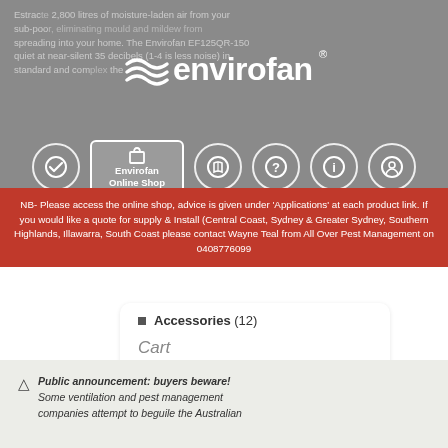[Figure (screenshot): Envirofan website screenshot showing logo, navigation icons including highlighted 'Envirofan Online Shop' button, faded background text about sub-floor ventilation products, a red notice banner, an accessories list item, a Cart section, and a public announcement section at the bottom.]
NB- Please access the online shop, advice is given under 'Applications' at each product link. If you would like a quote for supply & Install (Central Coast, Sydney & Greater Sydney, Southern Highlands, Illawarra, South Coast please contact Wayne Teal from All Over Pest Management on 0408776099
Accessories (12)
Cart
Public announcement: buyers beware! Some ventilation and pest management companies attempt to beguile the Australian